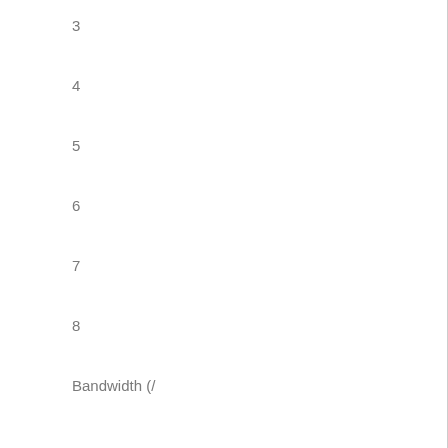3
4
5
6
7
8
Bandwidth (/
9 min
10 11 12 13
1
)
2